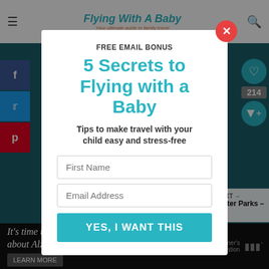Flying With A Baby - Your ultimate guide to family travel
[Figure (screenshot): Website screenshot with popup modal overlay. Background shows a dark teal content area with social sharing buttons (Facebook, Twitter, Pinterest) on the left side and heart/share icons on the right. A white modal popup is centered showing an email signup form.]
FREE EMAIL BONUS
5 Secrets to Flying with a Baby
Tips to make travel with your child easy and stress-free
First Name
Email Address
YES, I WANT THIS
WHAT'S NEXT → Indoor Water Parks – Gre...
It's time to talk about Alzheimer's.
LEARN MORE